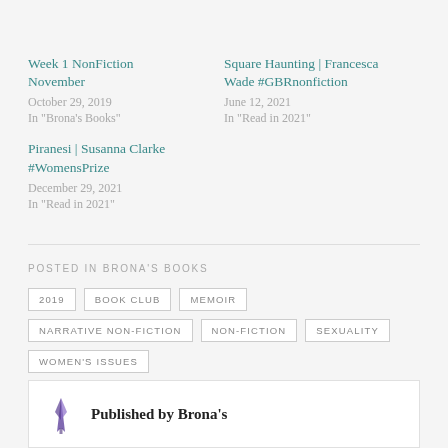Week 1 NonFiction November
October 29, 2019
In "Brona's Books"
Square Haunting | Francesca Wade #GBRnonfiction
June 12, 2021
In "Read in 2021"
Piranesi | Susanna Clarke #WomensPrize
December 29, 2021
In "Read in 2021"
POSTED IN BRONA'S BOOKS
2019
BOOK CLUB
MEMOIR
NARRATIVE NON-FICTION
NON-FICTION
SEXUALITY
WOMEN'S ISSUES
Published by Brona's